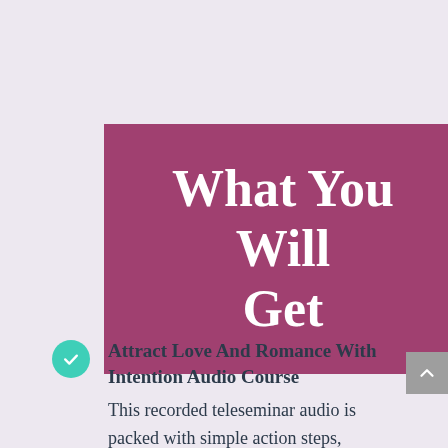What You Will Get
Attract Love And Romance With Intention Audio Course
This recorded teleseminar audio is packed with simple action steps,